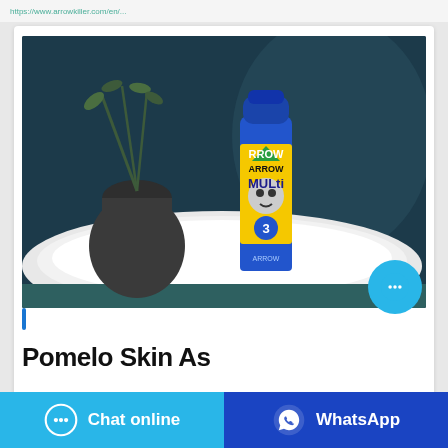https://www.arrowkiller.com/en/...
[Figure (photo): A blue aerosol spray can (ARROW brand, MULTI insecticide, level 3) standing upright on a white cloth/towel on a dark teal surface, with a dark vase and plant sprig in the background. Dark blue/teal background.]
|
Pomelo Skin As
Chat online
WhatsApp